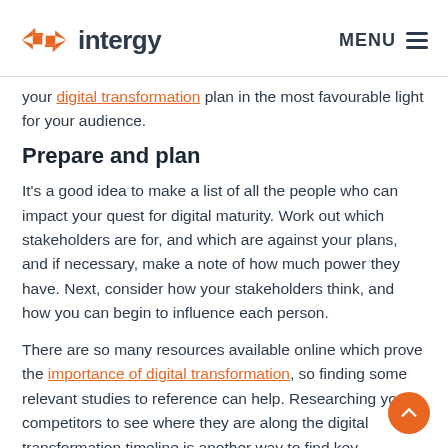intergy | MENU
your digital transformation plan in the most favourable light for your audience.
Prepare and plan
It's a good idea to make a list of all the people who can impact your quest for digital maturity. Work out which stakeholders are for, and which are against your plans, and if necessary, make a note of how much power they have. Next, consider how your stakeholders think, and how you can begin to influence each person.
There are so many resources available online which prove the importance of digital transformation, so finding some relevant studies to reference can help. Researching your competitors to see where they are along the digital transformation timeline is another way to find key